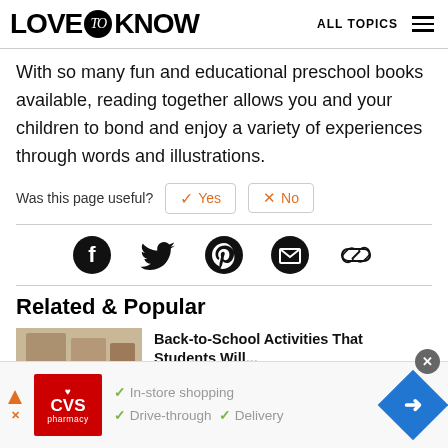LOVE to KNOW  ALL TOPICS
With so many fun and educational preschool books available, reading together allows you and your children to bond and enjoy a variety of experiences through words and illustrations.
Was this page useful?  ✓ Yes  ✗ No
[Figure (infographic): Social sharing icons: Facebook, Twitter, Pinterest, Email, Link]
Related & Popular
Back-to-School Activities That...
[Figure (infographic): CVS Pharmacy advertisement banner: In-store shopping, Drive-through, Delivery]